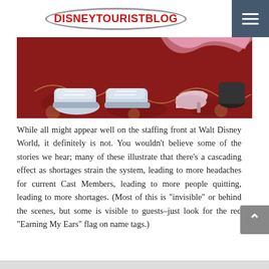DISNEYTOURISTBLOG
[Figure (photo): Close-up photo of feet/shoes on a red patterned carpet. Shows sneakers and a pink/silver high-heeled shoe, likely at a Disney character meet-and-greet.]
While all might appear well on the staffing front at Walt Disney World, it definitely is not. You wouldn't believe some of the stories we hear; many of these illustrate that there's a cascading effect as shortages strain the system, leading to more headaches for current Cast Members, leading to more people quitting, leading to more shortages. (Most of this is “invisible” or behind the scenes, but some is visible to guests–just look for the red “Earning My Ears” flag on name tags.)